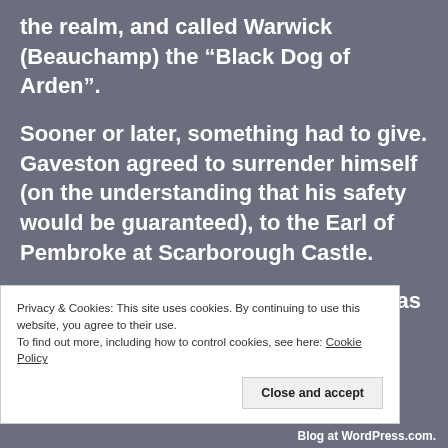the realm, and called Warwick (Beauchamp) the “Black Dog of Arden”.
Sooner or later, something had to give. Gaveston agreed to surrender himself (on the understanding that his safety would be guaranteed), to the Earl of Pembroke at Scarborough Castle.
On 10 June 1312, while Pembroke was away,
Privacy & Cookies: This site uses cookies. By continuing to use this website, you agree to their use.
To find out more, including how to control cookies, see here: Cookie Policy
Close and accept
Blog at WordPress.com.